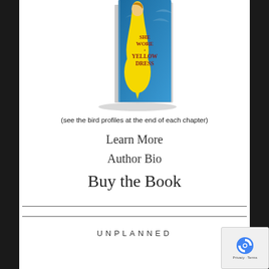[Figure (photo): 3D book cover of 'She Wore a Yellow Dress' featuring a woman in a yellow dress against a blue background]
(see the bird profiles at the end of each chapter)
Learn More
Author Bio
Buy the Book
UNPLANNED